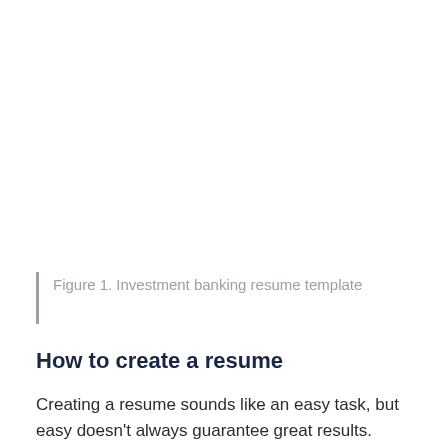Figure 1. Investment banking resume template
How to create a resume
Creating a resume sounds like an easy task, but easy doesn't always guarantee great results. There are several things to consider when creating one because